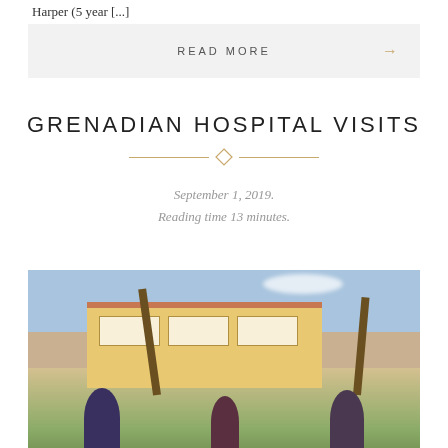Harper (5 year [...]
READ MORE →
GRENADIAN HOSPITAL VISITS
September 1, 2019.
Reading time 13 minutes.
[Figure (photo): Group of three people (two young men and a woman) standing in front of a yellow hospital building with palm trees and blue sky in the background. Appears to be a Grenadian hospital exterior.]